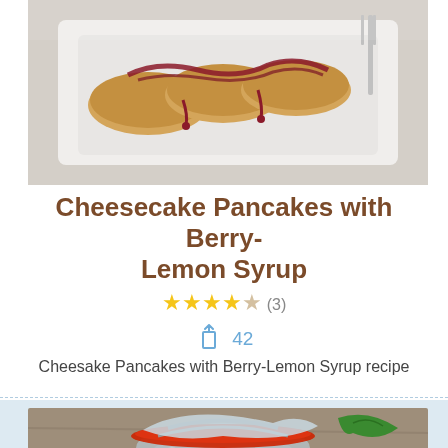[Figure (photo): Cheesecake pancakes topped with berry-lemon syrup served on a white rectangular plate, photographed from above on a light background]
Cheesecake Pancakes with Berry-Lemon Syrup
★★★★☆ (3)
Share icon 42
Cheesecake Pancakes with Berry-Lemon Syrup recipe
[Figure (photo): A glass jar with a red rubber-sealed clamp lid open, containing orange-red jam or preserved fruit, with a green herb leaf visible in the background on a wooden surface]